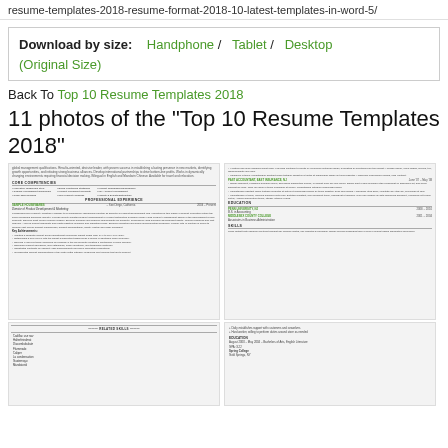resume-templates-2018-resume-format-2018-10-latest-templates-in-word-5/
Download by size: Handphone / Tablet / Desktop (Original Size)
Back To Top 10 Resume Templates 2018
11 photos of the "Top 10 Resume Templates 2018"
[Figure (screenshot): Two resume template thumbnail screenshots side by side showing a professional resume layout with work experience and education sections]
[Figure (screenshot): Two more resume template thumbnail screenshots side by side, left showing related skills section, right showing education section]